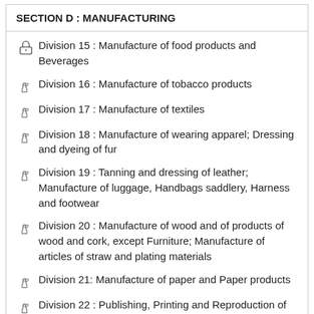SECTION D : MANUFACTURING
Division 15 : Manufacture of food products and Beverages
Division 16 : Manufacture of tobacco products
Division 17 : Manufacture of textiles
Division 18 : Manufacture of wearing apparel; Dressing and dyeing of fur
Division 19 : Tanning and dressing of leather; Manufacture of luggage, Handbags saddlery, Harness and footwear
Division 20 : Manufacture of wood and of products of wood and cork, except Furniture; Manufacture of articles of straw and plating materials
Division 21: Manufacture of paper and Paper products
Division 22 : Publishing, Printing and Reproduction of recorded media
Division 23 : Manufacture of coke, Refined petroleum products and Nuclear Fuel